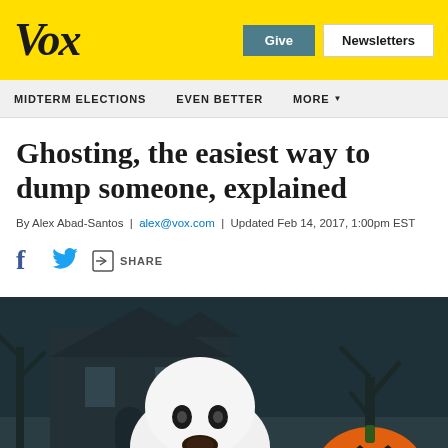Vox | Give | Newsletters
MIDTERM ELECTIONS   EVEN BETTER   MORE
Ghosting, the easiest way to dump someone, explained
By Alex Abad-Santos | alex@vox.com | Updated Feb 14, 2017, 1:00pm EST
Share buttons: Facebook, Twitter, Share
[Figure (photo): A dog dressed in a white ghost costume with eye holes, next to an orange jack-o-lantern pumpkin, set against a spooky dark haunted house background.]